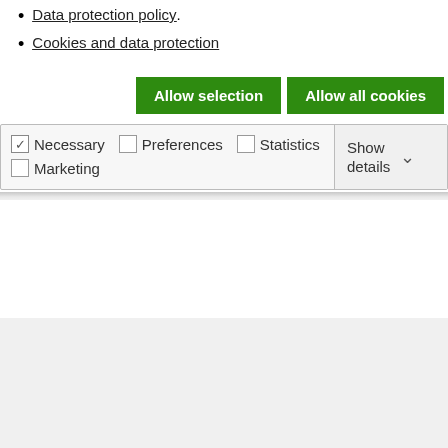Data protection policy
Cookies and data protection
[Figure (screenshot): Cookie consent bar with Allow selection and Allow all cookies green buttons, and checkboxes for Necessary (checked), Preferences, Statistics, Marketing, with Show details dropdown.]